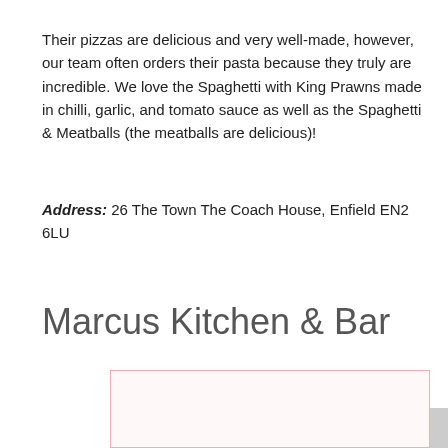Their pizzas are delicious and very well-made, however, our team often orders their pasta because they truly are incredible. We love the Spaghetti with King Prawns made in chilli, garlic, and tomato sauce as well as the Spaghetti & Meatballs (the meatballs are delicious)!
Address: 26 The Town The Coach House, Enfield EN2 6LU
Marcus Kitchen & Bar
[Figure (photo): Partially visible image placeholder with pink/red border, content not visible]